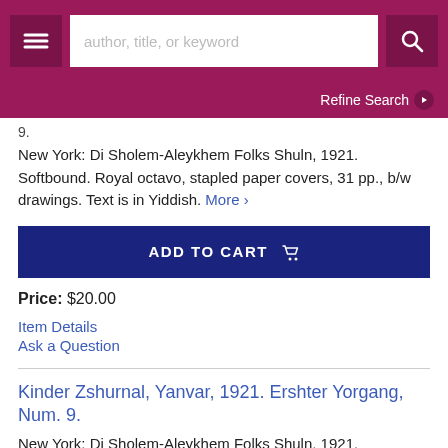author, title, or keyword | Refine Search
9.
New York: Di Sholem-Aleykhem Folks Shuln, 1921. Softbound. Royal octavo, stapled paper covers, 31 pp., b/w drawings. Text is in Yiddish. More >
ADD TO CART
Price: $20.00
Item Details
Ask a Question
Kinder Zshurnal, Yanvar, 1921. Ershter Yorgang, Num. 9.
New York: Di Sholem-Aleykhem Folks Shuln, 1921. Softbound. Royal octavo, stapled paper covers, 31 pp., b/w drawings. Text is in Yiddish.